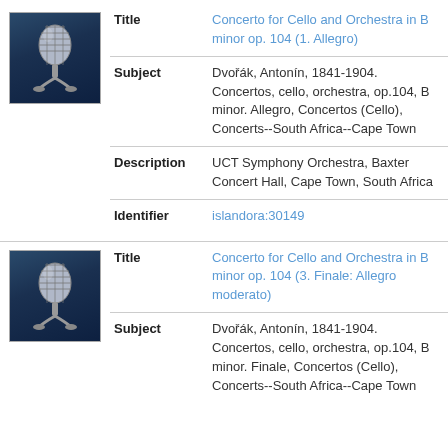[Figure (illustration): Microphone icon on dark blue background]
| Title | Concerto for Cello and Orchestra in B minor op. 104 (1. Allegro) |
| Subject | Dvořák, Antonín, 1841-1904. Concertos, cello, orchestra, op.104, B minor. Allegro, Concertos (Cello), Concerts--South Africa--Cape Town |
| Description | UCT Symphony Orchestra, Baxter Concert Hall, Cape Town, South Africa |
| Identifier | islandora:30149 |
[Figure (illustration): Microphone icon on dark blue background]
| Title | Concerto for Cello and Orchestra in B minor op. 104 (3. Finale: Allegro moderato) |
| Subject | Dvořák, Antonín, 1841-1904. Concertos, cello, orchestra, op.104, B minor. Finale, Concertos (Cello), Concerts--South Africa--Cape Town |